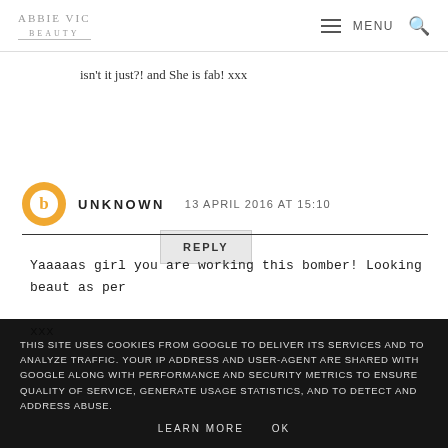ABBIE VIC | MENU 🔍
isn't it just?! and She is fab! xxx
REPLY
UNKNOWN   13 APRIL 2016 AT 15:10
Yaaaaas girl you are working this bomber! Looking beaut as per

xxx
REPLY
THIS SITE USES COOKIES FROM GOOGLE TO DELIVER ITS SERVICES AND TO ANALYZE TRAFFIC. YOUR IP ADDRESS AND USER-AGENT ARE SHARED WITH GOOGLE ALONG WITH PERFORMANCE AND SECURITY METRICS TO ENSURE QUALITY OF SERVICE, GENERATE USAGE STATISTICS, AND TO DETECT AND ADDRESS ABUSE.
LEARN MORE   OK